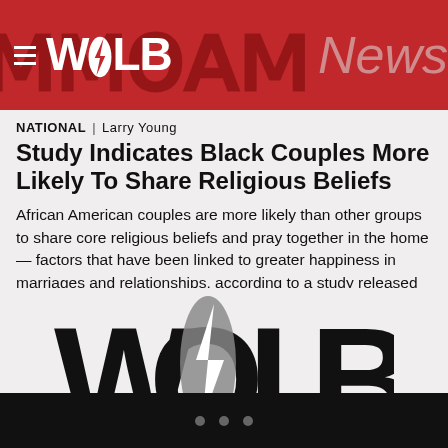WOLB News
NATIONAL | Larry Young
Study Indicates Black Couples More Likely To Share Religious Beliefs
African American couples are more likely than other groups to share core religious beliefs and pray together in the home — factors that have been linked to greater happiness in marriages and relationships, according to a study released Tuesday.
[Figure (logo): WOLB logo — large black letters W, O, L, B with a gray lightning bolt overlaid on the O, on a light gray background]
• • •